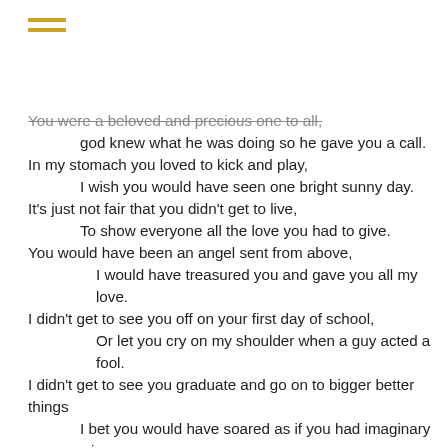≡ (menu icon)
You were a beloved and precious one to all,
	god knew what he was doing so he gave you a call.
In my stomach you loved to kick and play,
	I wish you would have seen one bright sunny day.
It's just not fair that you didn't get to live,
	To show everyone all the love you had to give.
You would have been an angel sent from above,
		I would have treasured you and gave you all my love.
I didn't get to see you off on your first day of school,
		Or let you cry on my shoulder when a guy acted a fool.
I didn't get to see you graduate and go on to bigger better things
	I bet you would have soared as if you had imaginary wings.
You could have become president and known what to do.